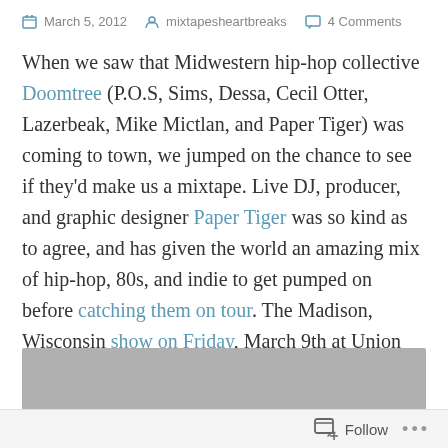March 5, 2012   mixtapesheartbreaks   4 Comments
When we saw that Midwestern hip-hop collective Doomtree (P.O.S, Sims, Dessa, Cecil Otter, Lazerbeak, Mike Mictlan, and Paper Tiger) was coming to town, we jumped on the chance to see if they'd make us a mixtape. Live DJ, producer, and graphic designer Paper Tiger was so kind as to agree, and has given the world an amazing mix of hip-hop, 80s, and indie to get pumped on before catching them on tour. The Madison, Wisconsin show on Friday, March 9th at Union South's The Sett is free, so be sure to come out. Stick around after – Paper Tiger and Lazerbeak will be DJing the after party.
[Figure (other): Gray placeholder image block]